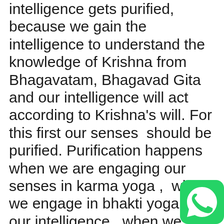intelligence gets purified, because we gain the intelligence to understand the knowledge of Krishna from Bhagavatam, Bhagavad Gita and our intelligence will act according to Krishna's will. For this first our senses  should be purified. Purification happens when we are engaging our senses in karma yoga ,  when we engage in bhakti yoga with our intelligence , when we engage in Dhyana yoga which is chanting as a meditation, engaging in cooking which is also a meditation then we come to pure sadhana bhakti with Bhava bhakti, pure love for God  and we will be working on our  motivation to be free us  from selfishness, egotism, and getting back to work,
[Figure (logo): WhatsApp green logo icon in bottom-right corner]